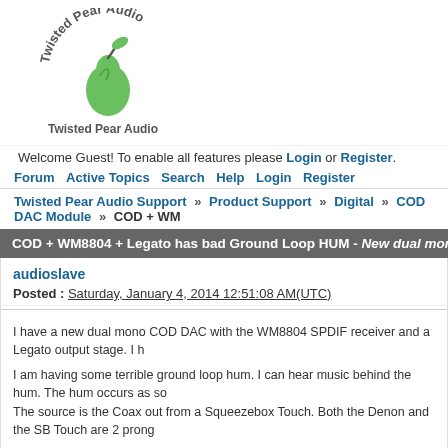[Figure (logo): Twisted Pear Audio logo with a stylized green pear and text curving around it]
Welcome Guest! To enable all features please Login or Register.
Forum  Active Topics  Search  Help  Login  Register
Twisted Pear Audio Support » Product Support » Digital » COD DAC Module » COD + WM...
COD + WM8804 + Legato has bad Ground Loop HUM - New dual mono COD with H...
audioslave
Posted : Saturday, January 4, 2014 12:51:08 AM(UTC)
I have a new dual mono COD DAC with the WM8804 SPDIF receiver and a Legato output stage. I h
I am having some terrible ground loop hum. I can hear music behind the hum. The hum occurs as so… The source is the Coax out from a Squeezebox Touch. Both the Denon and the SB Touch are 2 prong
The LCDPS feeds the COD DACs. The Placid is feeding the WM8804. The Placid BP is feeding the… the power entry module ( no reduction in HUM). The RCAs are isolated from the chassis (checked v
The humming would get worse when the SPDIF was connected. I implemented isolation transforme
Right now I have the RF floating. However, I would like to ground them in the end at the top…